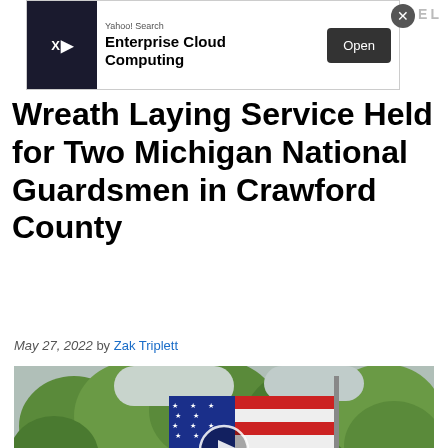[Figure (screenshot): Yahoo Search advertisement banner for Enterprise Cloud Computing with an Open button]
Wreath Laying Service Held for Two Michigan National Guardsmen in Crawford County
May 27, 2022 by Zak Triplett
[Figure (screenshot): Video thumbnail showing an American flag waving in the wind with trees in the background. A play button circle is visible in the center. A 9&10 News WWTV station bug with timestamp 6:02 is in the lower right corner.]